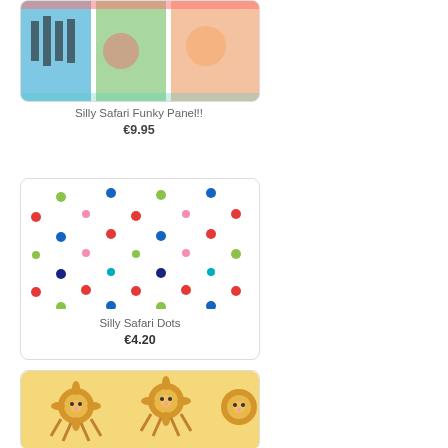[Figure (photo): Silly Safari Funky Panel fabric product image (top, partially visible)]
Silly Safari Funky Panel!!
€9.95
[Figure (illustration): Silly Safari Dots fabric pattern - colorful polka dots on white background]
Silly Safari Dots
€4.20
[Figure (illustration): Silly Safari Animals fabric pattern - cartoon lions on yellow background]